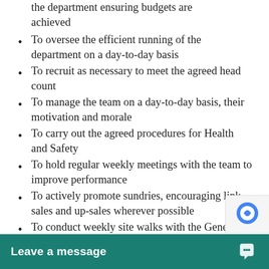the department ensuring budgets are achieved
To oversee the efficient running of the department on a day-to-day basis
To recruit as necessary to meet the agreed head count
To manage the team on a day-to-day basis, their motivation and morale
To carry out the agreed procedures for Health and Safety
To hold regular weekly meetings with the team to improve performance
To actively promote sundries, encouraging link sales and up-sales wherever possible
To conduct weekly site walks with the General Manager
To attend trade shows, industry events and other ga…